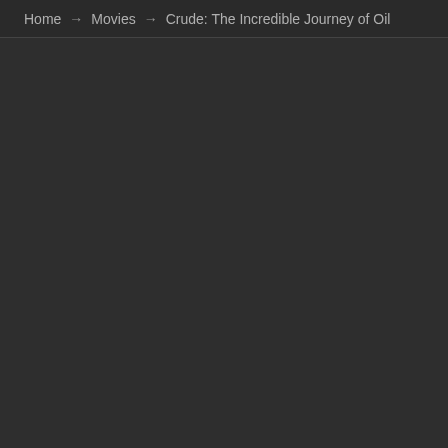Home → Movies → Crude: The Incredible Journey of Oil